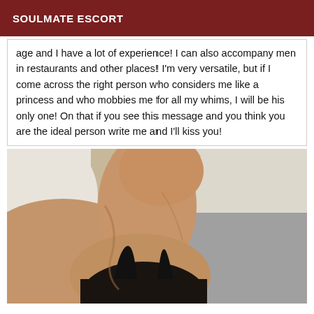SOULMATE ESCORT
age and I have a lot of experience! I can also accompany men in restaurants and other places! I'm very versatile, but if I come across the right person who considers me like a princess and who mobbies me for all my whims, I will be his only one! On that if you see this message and you think you are the ideal person write me and I'll kiss you!
[Figure (photo): Close-up photo of a person's neck and upper chest area wearing a dark garment, lying down with white pillow and grey surface in background]